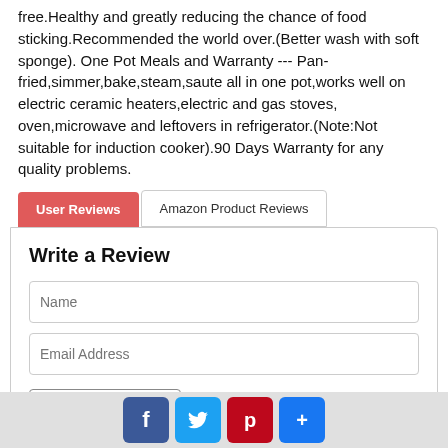free.Healthy and greatly reducing the chance of food sticking.Recommended the world over.(Better wash with soft sponge). One Pot Meals and Warranty --- Pan-fried,simmer,bake,steam,saute all in one pot,works well on electric ceramic heaters,electric and gas stoves, oven,microwave and leftovers in refrigerator.(Note:Not suitable for induction cooker).90 Days Warranty for any quality problems.
User Reviews | Amazon Product Reviews
Write a Review
Name
Email Address
-- Select Score --
Social share buttons: Facebook, Twitter, Pinterest, Google+